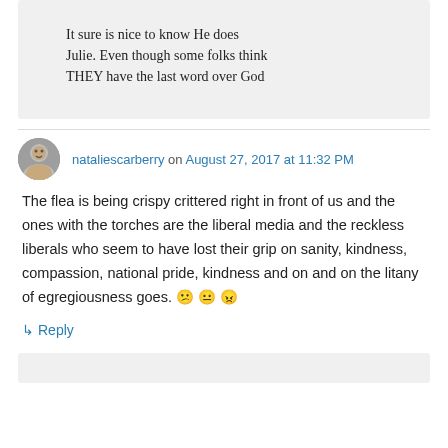It sure is nice to know He does Julie. Even though some folks think THEY have the last word over God
nataliescarberry on August 27, 2017 at 11:32 PM
The flea is being crispy crittered right in front of us and the ones with the torches are the liberal media and the reckless liberals who seem to have lost their grip on sanity, kindness, compassion, national pride, kindness and on and on the litany of egregiousness goes. 😕 😐 😠
↳ Reply